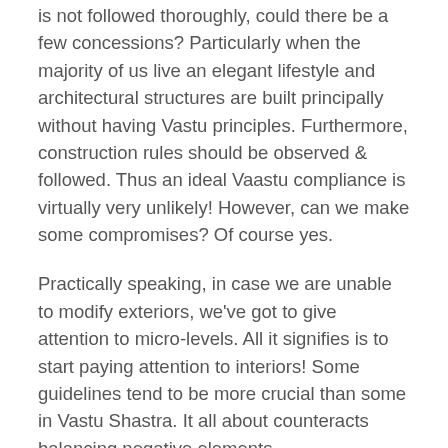is not followed thoroughly, could there be a few concessions? Particularly when the majority of us live an elegant lifestyle and architectural structures are built principally without having Vastu principles. Furthermore, construction rules should be observed & followed. Thus an ideal Vaastu compliance is virtually very unlikely! However, can we make some compromises? Of course yes.
Practically speaking, in case we are unable to modify exteriors, we've got to give attention to micro-levels. All it signifies is to start paying attention to interiors! Some guidelines tend to be more crucial than some in Vastu Shastra. It all about counteracts balancing negative elements.